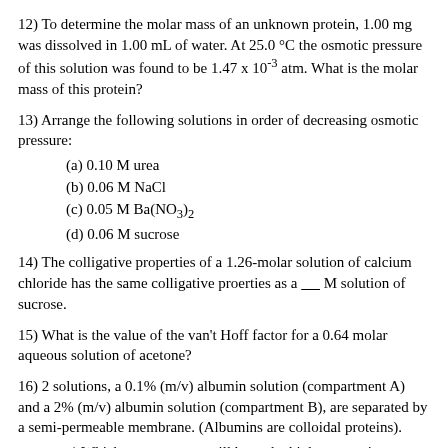12) To determine the molar mass of an unknown protein, 1.00 mg was dissolved in 1.00 mL of water. At 25.0 °C the osmotic pressure of this solution was found to be 1.47 x 10^-3 atm. What is the molar mass of this protein?
13) Arrange the following solutions in order of decreasing osmotic pressure:
(a) 0.10 M urea
(b) 0.06 M NaCl
(c) 0.05 M Ba(NO3)2
(d) 0.06 M sucrose
14) The colligative properties of a 1.26-molar solution of calcium chloride has the same colligative proerties as a _____ M solution of sucrose.
15) What is the value of the van't Hoff factor for a 0.64 molar aqueous solution of acetone?
16) 2 solutions, a 0.1% (m/v) albumin solution (compartment A) and a 2% (m/v) albumin solution (compartment B), are separated by a semi-permeable membrane. (Albumins are colloidal proteins).
a) Which compartment will have the higher osmotic